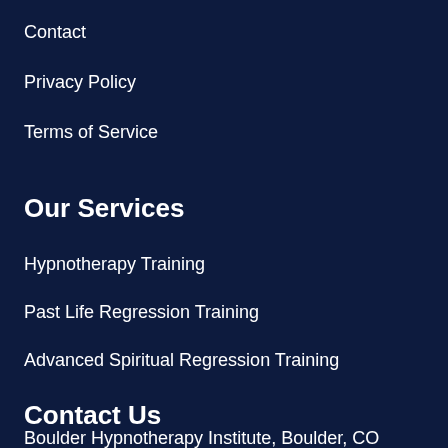Contact
Privacy Policy
Terms of Service
Our Services
Hypnotherapy Training
Past Life Regression Training
Advanced Spiritual Regression Training
Contact Us
Boulder Hypnotherapy Institute, Boulder, CO